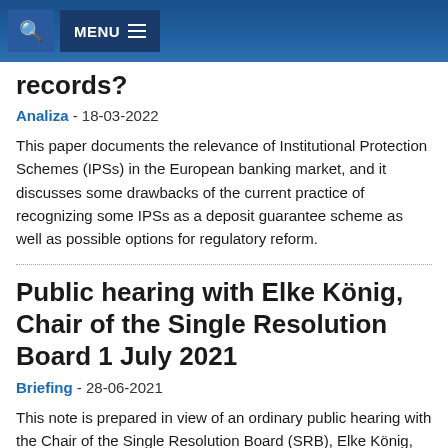MENU
records?
Analiza - 18-03-2022
This paper documents the relevance of Institutional Protection Schemes (IPSs) in the European banking market, and it discusses some drawbacks of the current practice of recognizing some IPSs as a deposit guarantee scheme as well as possible options for regulatory reform.
Public hearing with Elke König, Chair of the Single Resolution Board 1 July 2021
Briefing - 28-06-2021
This note is prepared in view of an ordinary public hearing with the Chair of the Single Resolution Board (SRB), Elke König, which will take place on 1 July 2021. The Chair will present the SRB's annual report for 2020. This briefing addresses (i) the review of the crisis management framework, and in particular the SRB's input to the Commission's public consultation; (ii) MREL policy and statistics; (iii)